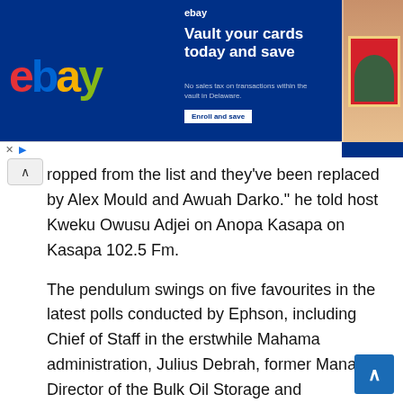[Figure (screenshot): eBay advertisement banner: 'Vault your cards today and save' with card images on dark blue background]
ropped from the list and they've been replaced by Alex Mould and Awuah Darko." he told host Kweku Owusu Adjei on Anopa Kasapa on Kasapa 102.5 Fm.
The pendulum swings on five favourites in the latest polls conducted by Ephson, including Chief of Staff in the erstwhile Mahama administration, Julius Debrah, former Managing Director of the Bulk Oil Storage and Transportation Company (BOST) Limited, and Kingsley Kwame Awuah-Darko, Former Chief Executive Officer (CEO) of Ghana National Petroleum Corporation (GNPC) Alex Mould.
The rest are former Energy Minister, Kofi Armah Buah and Oppong-Fosu who are all from the Southern belt and Akans.